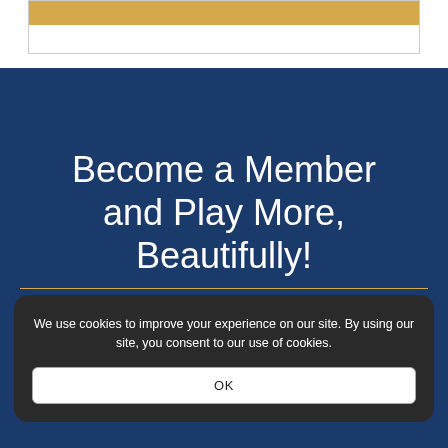[Figure (other): Gold banner bar inside a bordered white box at the top of the page]
Become a Member and Play More, Beautifully!
We use cookies to improve your experience on our site. By using our site, you consent to our use of cookies.
OK